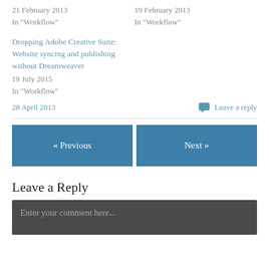21 February 2013
In "Workflow"
19 February 2013
In "Workflow"
Dropping Adobe Creative Suite: Website syncing and publishing without Dreamweaver
19 July 2015
In "Workflow"
28 April 2013
Leave a reply
« Previous
Next »
Leave a Reply
Enter your comment here...